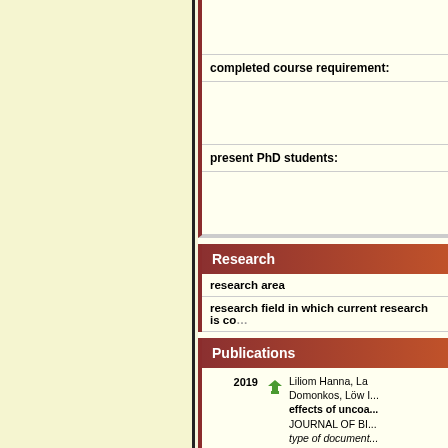| completed course requirement: |  |
| present PhD students: |  |
Research
| research area |  |
| research field in which current research is co... |  |
Publications
| Year |  | Reference |
| --- | --- | --- |
| 2019 |  | Liliom Hanna, La... Domonkos, Löw I... effects of uncoa... JOURNAL OF BI... type of document: ... number of indepe... language: English URL |
| 2019 |  | Hernáth F., Schle... physiological pr... REPORTS 9: (1) type of document... |